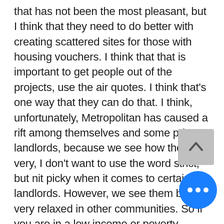that has not been the most pleasant, but I think that they need to do better with creating scattered sites for those with housing vouchers. I think that that is important to get people out of the projects, use the air quotes. I think that's one way that they can do that. I think, unfortunately, Metropolitan has caused a rift among themselves and some private landlords, because we see how they are very, I don't want to use the word strict, but nit picky when it comes to certain landlords. However, we see them being very relaxed in other communities. So if you are in a low income or poverty ridden communi... it's almost like they approve thos... housings for people with vouchers to